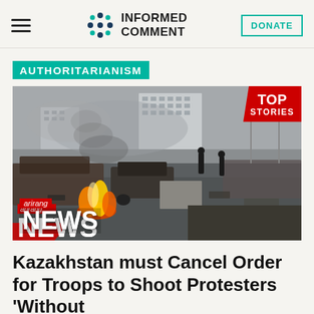INFORMED COMMENT — DONATE
AUTHORITARIANISM
[Figure (photo): Street scene showing burned-out cars, debris, fire, and people amid unrest in Kazakhstan. Arirang NEWS watermark visible. TOP STORIES badge in top right corner.]
Kazakhstan must Cancel Order for Troops to Shoot Protesters 'Without Warning'